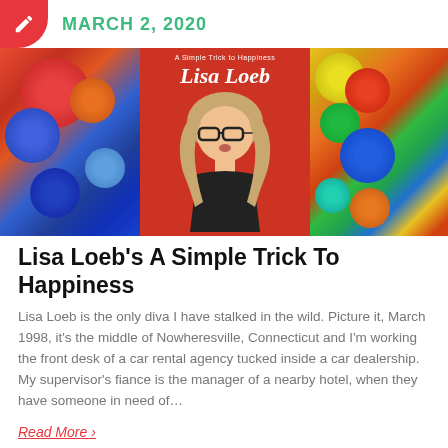MARCH 2, 2020
[Figure (photo): Album cover collage for Lisa Loeb's 'A Simple Trick to Happiness'. Three panels: left panel shows colorful abstract bubbles/blobs in red, orange, blue; center panel shows red background with 'A Simple Trick to Happiness' text and 'Lisa Loeb' in large italic font, with a photo of Lisa Loeb looking upward wearing glasses; right panel shows colorful abstract bubbles in rainbow colors.]
Lisa Loeb's A Simple Trick To Happiness
Lisa Loeb is the only diva I have stalked in the wild. Picture it, March 1998, it's the middle of Nowheresville, Connecticut and I'm working the front desk of a car rental agency tucked inside a car dealership. My supervisor's fiance is the manager of a nearby hotel, when they have someone in need of…
Read More ›